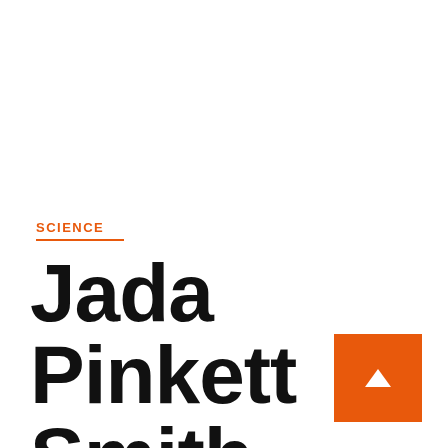SCIENCE
Jada Pinkett Smith talks about